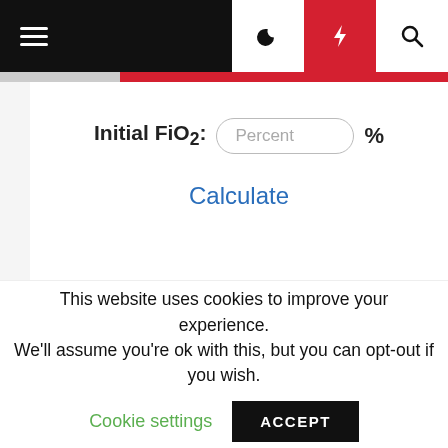Navigation bar with hamburger menu, moon icon, lightning icon (red background), and search icon
Initial FiO2: [Percent input] %
Calculate
This website uses cookies to improve your experience. We'll assume you're ok with this, but you can opt-out if you wish. Cookie settings ACCEPT